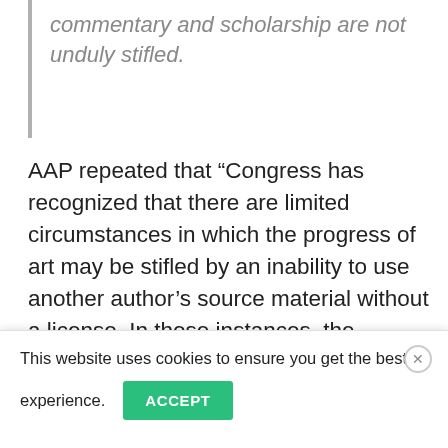commentary and scholarship are not unduly stifled.
AAP repeated that “Congress has recognized that there are limited circumstances in which the progress of art may be stifled by an inability to use another author’s source material without a license. In those instances, the unauthorized use of the copyrighted work is deemed fair and non-infringing.”
AAP acknowledged that “publishers regularly rely on fair use” for uses such as “displaying
This website uses cookies to ensure you get the best experience.